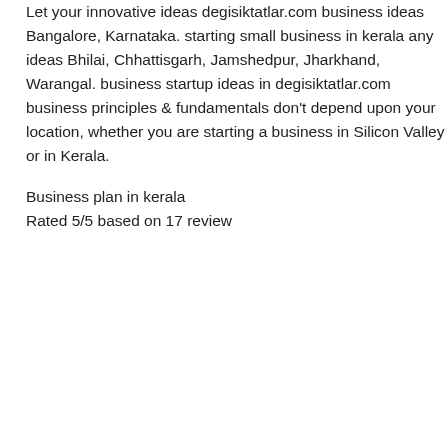Let your innovative ideas degisiktatlar.com business ideas Bangalore, Karnataka. starting small business in kerala any ideas Bhilai, Chhattisgarh, Jamshedpur, Jharkhand, Warangal. business startup ideas in degisiktatlar.com business principles & fundamentals don't depend upon your location, whether you are starting a business in Silicon Valley or in Kerala.
Business plan in kerala
Rated 5/5 based on 17 review
| Operating system and microsoft corporation |
| Business plan our way forward wiki |
| Business plan friseur muster point |
| Business plan start up costs template |
| Operating statement business and more |